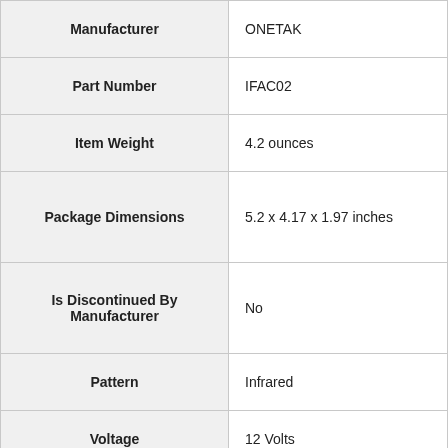| Attribute | Value |
| --- | --- |
| Manufacturer | ONETAK |
| Part Number | IFAC02 |
| Item Weight | 4.2 ounces |
| Package Dimensions | 5.2 x 4.17 x 1.97 inches |
| Is Discontinued By Manufacturer | No |
| Pattern | Infrared |
| Voltage | 12 Volts |
| Item Package Quantity | 1 |